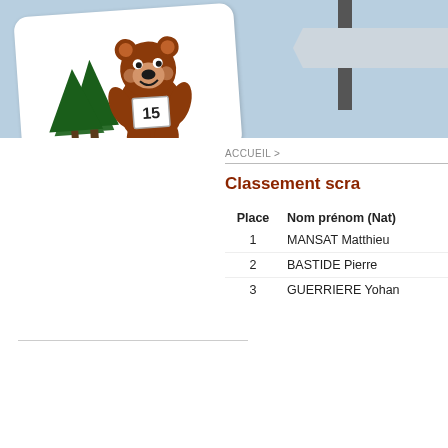[Figure (illustration): Cartoon bear mascot wearing a race bib number 15, standing in front of pine trees, on a white rounded-corner card tilted slightly, placed on a light blue banner background.]
[Figure (illustration): Street sign post silhouette on the right side of the light blue banner.]
ACCUEIL >
Classement scra
| Place | Nom prénom (Nat) |
| --- | --- |
| 1 | MANSAT Matthieu |
| 2 | BASTIDE Pierre |
| 3 | GUERRIERE Yohan |